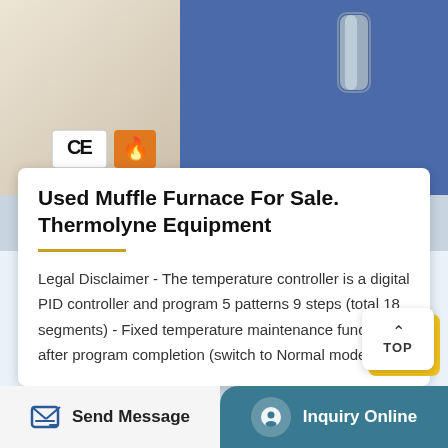[Figure (photo): Top portion of a muffle furnace with blue/grey casing and a metallic handle on the right side, CE and fire safety badges visible on the left]
Used Muffle Furnace For Sale. Thermolyne Equipment
Legal Disclaimer - The temperature controller is a digital PID controller and program 5 patterns 9 steps (total 18 segments) - Fixed temperature maintenance function after program completion (switch to Normal mode) - A…
[Figure (photo): Bottom portion of a muffle furnace with white insulation top and blue body visible]
Send Message
Inquiry Online